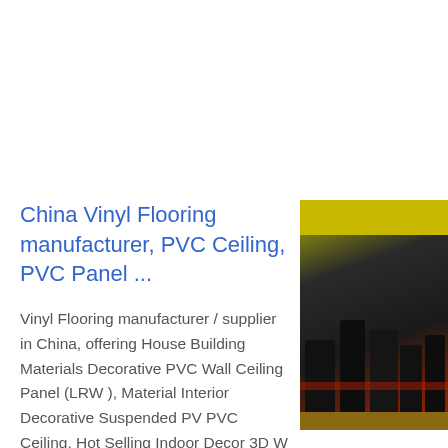China Vinyl Flooring manufacturer, PVC Ceiling, PVC Panel ...
[Figure (photo): Photo showing gym/exercise equipment (stationary bikes or similar machines) arranged in rows, viewed from the side. Yellow ceiling visible at top. Dark environment with reddish floor.]
Vinyl Flooring manufacturer / supplier in China, offering House Building Materials Decorative PVC Wall Ceiling Panel (LRW ), Material Interior Decorative Suspended PVC Ceiling, Hot Selling Indoor Decor 3D W PVC Ceiling Panel for Living Room and Be Decoration Board and so on.
Get price